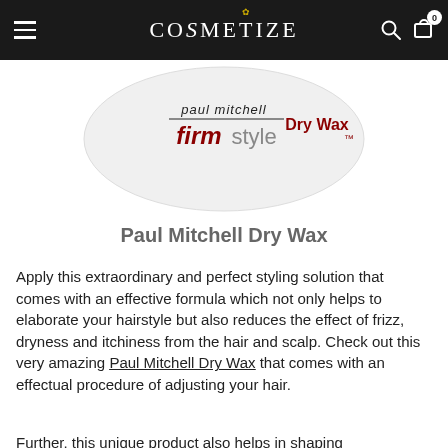COSMETIZE
[Figure (photo): Paul Mitchell firmstyle Dry Wax product container, white round tin with red and black branding text visible from the top]
Paul Mitchell Dry Wax
Apply this extraordinary and perfect styling solution that comes with an effective formula which not only helps to elaborate your hairstyle but also reduces the effect of frizz, dryness and itchiness from the hair and scalp. Check out this very amazing Paul Mitchell Dry Wax that comes with an effectual procedure of adjusting your hair.
Further, this unique product also helps in shaping...